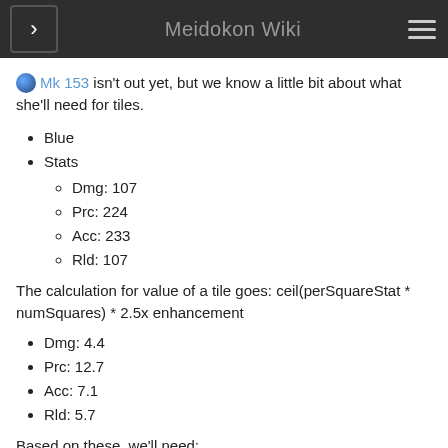Meidokon Wiki
🌐 Mk 153 isn't out yet, but we know a little bit about what she'll need for tiles.
Blue
Stats
Dmg: 107
Prc: 224
Acc: 233
Rld: 107
The calculation for value of a tile goes: ceil(perSquareStat * numSquares) * 2.5x enhancement
Dmg: 4.4
Prc: 12.7
Acc: 7.1
Rld: 5.7
Based on these, we'll need:
42-43 dmg from tiles == 9/10 squares